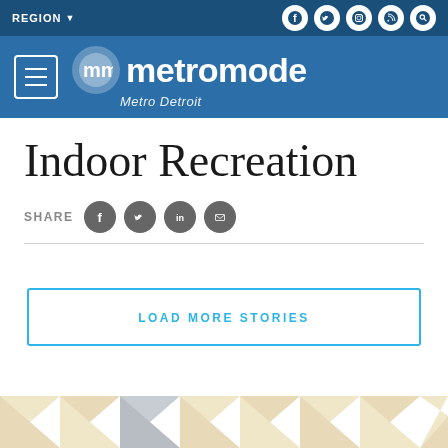REGION ▼ | metromode Metro Detroit
Indoor Recreation
SHARE
LOAD MORE STORIES